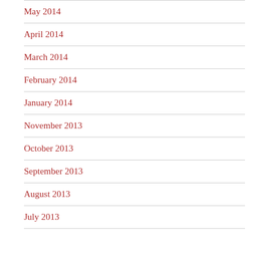May 2014
April 2014
March 2014
February 2014
January 2014
November 2013
October 2013
September 2013
August 2013
July 2013